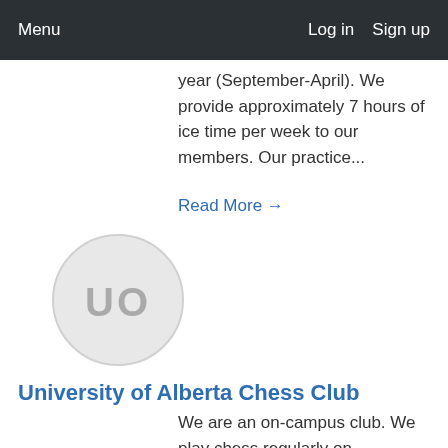Menu   Log in   Sign up
year (September-April). We provide approximately 7 hours of ice time per week to our members. Our practice...
Read More →
[Figure (illustration): Circular avatar placeholder with initials UO in gray on light gray background]
University of Alberta Chess Club
We are an on-campus club. We play chess regularly on weekdays, most likely Tuesdays and Thursdays from 3-6 during the coming fall semester. We